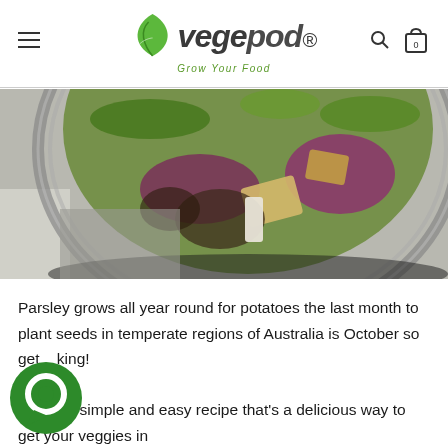vegepod® — Grow Your Food
[Figure (photo): Close-up photo of a glass salad bowl filled with colorful salad including purple onion, greens, croutons, and vegetables on a grey surface]
Parsley grows all year round for potatoes the last month to plant seeds in temperate regions of Australia is October so get cooking!

Here's a simple and easy recipe that's a delicious way to get your veggies in.